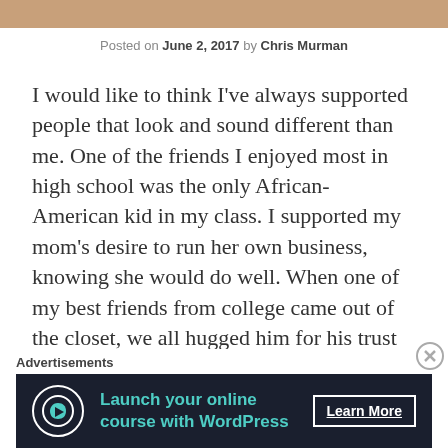[Figure (photo): Partial photo strip at top of page, appears to show a person, cropped]
Posted on June 2, 2017 by Chris Murman
I would like to think I’ve always supported people that look and sound different than me. One of the friends I enjoyed most in high school was the only African-American kid in my class. I supported my mom’s desire to run her own business, knowing she would do well. When one of my best friends from college came out of the closet, we all hugged him for his trust in us.
Wasn’t until recently I realized I was only implicitly
Advertisements
[Figure (screenshot): Advertisement banner: Launch your online course with WordPress - Learn More]